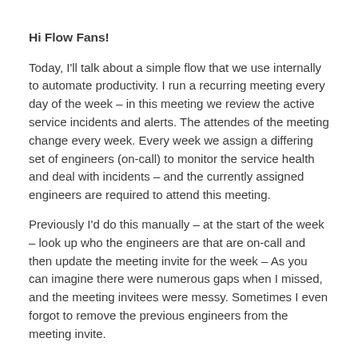Hi Flow Fans!
Today, I'll talk about a simple flow that we use internally to automate productivity. I run a recurring meeting every day of the week – in this meeting we review the active service incidents and alerts. The attendes of the meeting change every week. Every week we assign a differing set of engineers (on-call) to monitor the service health and deal with incidents – and the currently assigned engineers are required to attend this meeting.
Previously I'd do this manually – at the start of the week – look up who the engineers are that are on-call and then update the meeting invite for the week – As you can imagine there were numerous gaps when I missed, and the meeting invitees were messy. Sometimes I even forgot to remove the previous engineers from the meeting invite.
Now, I have a flow that does this every Monday @ 11am as shown below, the first set of steps up to the Exctract Flow on